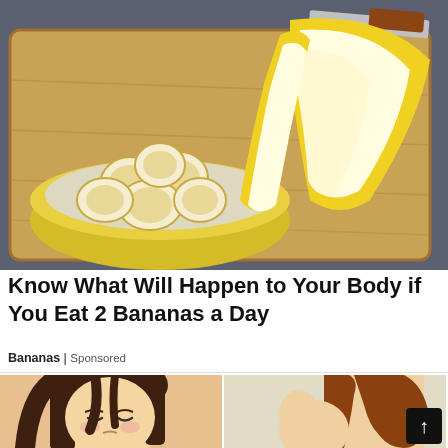[Figure (photo): Photo of sliced bananas in a yellow bowl on a wooden cutting board, with a peeled banana beside the bowl and a knife in the upper right corner]
Know What Will Happen to Your Body if You Eat 2 Bananas a Day
Bananas | Sponsored
[Figure (illustration): Two side-by-side illustrated/animated images: left shows an anime-style girl with dark hair appearing distressed; right shows an anime-style illustration with brown hair and a light background]